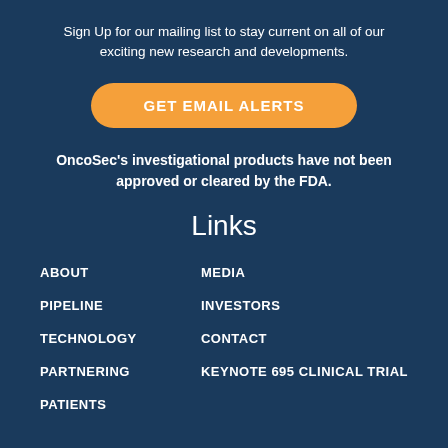Sign Up for our mailing list to stay current on all of our exciting new research and developments.
[Figure (other): Orange rounded button labeled GET EMAIL ALERTS]
OncoSec's investigational products have not been approved or cleared by the FDA.
Links
ABOUT
PIPELINE
TECHNOLOGY
PARTNERING
PATIENTS
MEDIA
INVESTORS
CONTACT
KEYNOTE 695 CLINICAL TRIAL
Contact